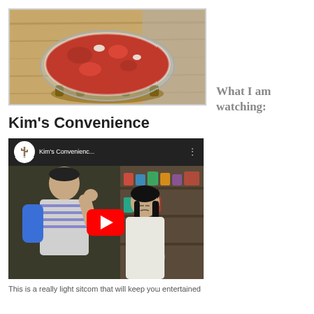[Figure (photo): Photo of a glass bowl containing red/tomato-based food (kimchi or stew) on a wooden surface]
What I am watching:
Kim's Convenience
[Figure (screenshot): YouTube video thumbnail for Kim's Convenience showing two people in a convenience store, with YouTube play button overlay and video title bar]
This is a really light sitcom that will keep you entertained